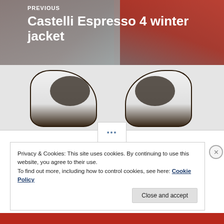[Figure (photo): Navigation block showing previous article with red winter jacket photo background and text 'PREVIOUS / Castelli Espresso 4 winter jacket']
[Figure (photo): Navigation block showing next article with cycling shoes photo background and text 'NEXT / Giro Factor ACC shoes']
...
Privacy & Cookies: This site uses cookies. By continuing to use this website, you agree to their use.
To find out more, including how to control cookies, see here: Cookie Policy
Close and accept